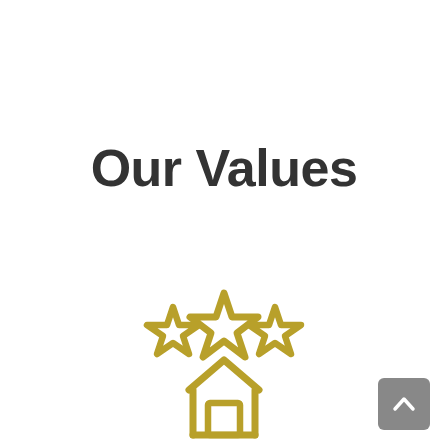Our Values
[Figure (illustration): Gold outline icon showing three stars above a house/award trophy shape, representing values or excellence]
[Figure (other): Gray back-to-top button with upward chevron arrow in bottom-right corner]